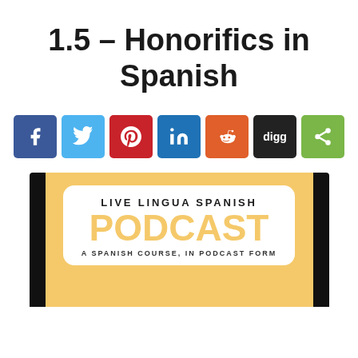1.5 – Honorifics in Spanish
[Figure (infographic): Social media share buttons row: Facebook (blue), Twitter (light blue), Pinterest (red), LinkedIn (blue), Reddit (orange), Digg (dark/black), Share (green)]
[Figure (illustration): Live Lingua Spanish Podcast logo card on gold/yellow background with black side bars. Text reads: LIVE LINGUA SPANISH PODCAST A SPANISH COURSE, IN PODCAST FORM]